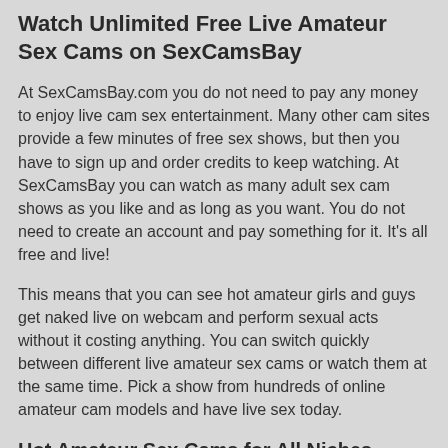Watch Unlimited Free Live Amateur Sex Cams on SexCamsBay
At SexCamsBay.com you do not need to pay any money to enjoy live cam sex entertainment. Many other cam sites provide a few minutes of free sex shows, but then you have to sign up and order credits to keep watching. At SexCamsBay you can watch as many adult sex cam shows as you like and as long as you want. You do not need to create an account and pay something for it. It's all free and live!
This means that you can see hot amateur girls and guys get naked live on webcam and perform sexual acts without it costing anything. You can switch quickly between different live amateur sex cams or watch them at the same time. Pick a show from hundreds of online amateur cam models and have live sex today.
Hot Amateur Sex Cams for All Niches